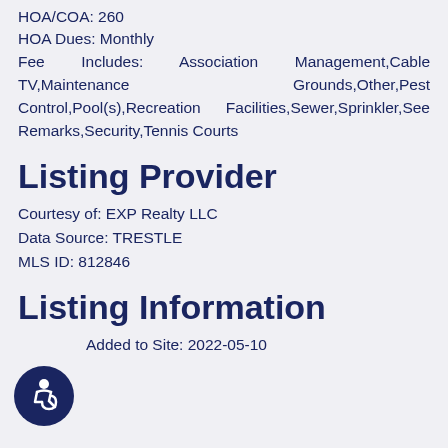HOA/COA: 260
HOA Dues: Monthly
Fee Includes: Association Management,Cable TV,Maintenance Grounds,Other,Pest Control,Pool(s),Recreation Facilities,Sewer,Sprinkler,See Remarks,Security,Tennis Courts
Listing Provider
Courtesy of: EXP Realty LLC
Data Source: TRESTLE
MLS ID: 812846
Listing Information
Added to Site: 2022-05-10